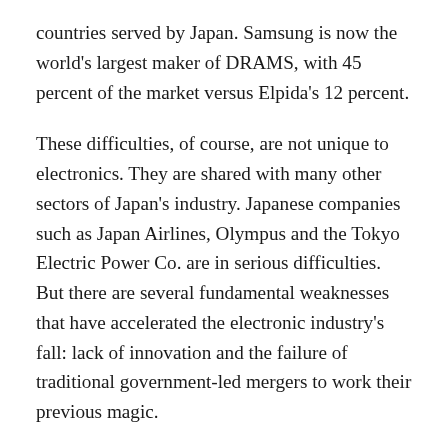countries served by Japan. Samsung is now the world's largest maker of DRAMS, with 45 percent of the market versus Elpida's 12 percent.
These difficulties, of course, are not unique to electronics. They are shared with many other sectors of Japan's industry. Japanese companies such as Japan Airlines, Olympus and the Tokyo Electric Power Co. are in serious difficulties. But there are several fundamental weaknesses that have accelerated the electronic industry's fall: lack of innovation and the failure of traditional government-led mergers to work their previous magic.
No longer do Japanese companies roll out exciting new electronics products. Apple seems to announce something new and exciting practically every year. Yet